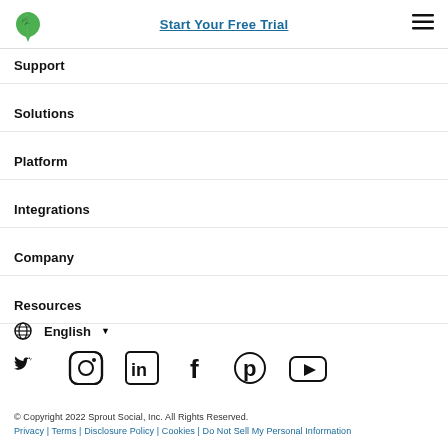Start Your Free Trial
Support
Solutions
Platform
Integrations
Company
Resources
English
[Figure (infographic): Social media icons: Twitter, Instagram, LinkedIn, Facebook, Pinterest, YouTube]
© Copyright 2022 Sprout Social, Inc. All Rights Reserved. Privacy | Terms | Disclosure Policy | Cookies | Do Not Sell My Personal Information